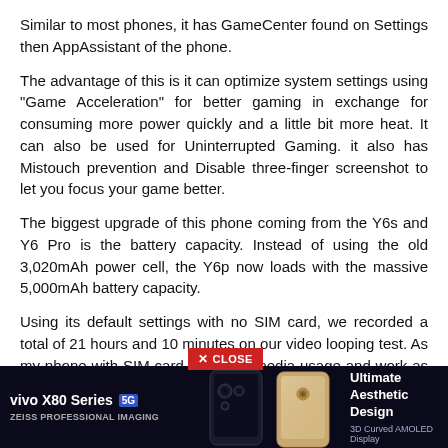Similar to most phones, it has GameCenter found on Settings then AppAssistant of the phone.
The advantage of this is it can optimize system settings using "Game Acceleration" for better gaming in exchange for consuming more power quickly and a little bit more heat. It can also be used for Uninterrupted Gaming. it also has Mistouch prevention and Disable three-finger screenshot to let you focus your game better.
The biggest upgrade of this phone coming from the Y6s and Y6 Pro is the battery capacity. Instead of using the old 3,020mAh power cell, the Y6p now loads with the massive 5,000mAh battery capacity.
Using its default settings with no SIM card, we recorded a total of 21 hours and 10 minutes on our video looping test. As my phone with SIM card for social media usage and work as well as playing occasional games and taking a few images, it lasted a whole day with 30 percent left in the tank.
[Figure (other): Advertisement banner for vivo X80 Series 5G with ZEISS Professional Imaging and two phone images, tagline: Ultimate Aesthetic Design, 3D Curved AMOLED Display]